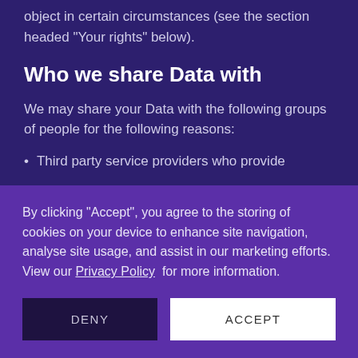object in certain circumstances (see the section headed "Your rights" below).
Who we share Data with
We may share your Data with the following groups of people for the following reasons:
Third party service providers who provide
By clicking “Accept”, you agree to the storing of cookies on your device to enhance site navigation, analyse site usage, and assist in our marketing efforts. View our Privacy Policy for more information.
DENY
ACCEPT